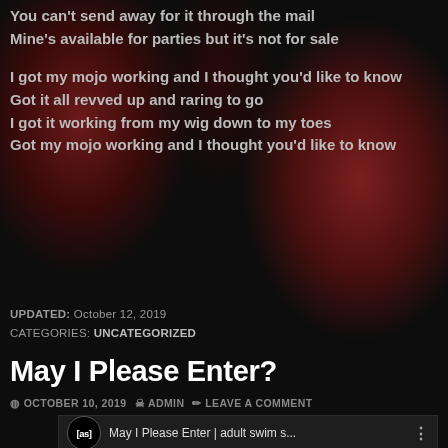You can't send away for it through the mail
Mine's available for parties but it's not for sale
I got my mojo working and I thought you'd like to know
Got it all revved up and raring to go
I got it working from my wig down to my toes
Got my mojo working and I thought you'd like to know
UPDATED: October 12, 2019
CATEGORIES: UNCATEGORIZED
May I Please Enter?
OCTOBER 10, 2019  ADMIN  LEAVE A COMMENT
[Figure (screenshot): YouTube video thumbnail showing adult swim [as] logo and title 'May I Please Enter | adult swim s...' with three-dot menu icon, and bottom portion showing red styled text 'MAY I PLEASE...' from the video]